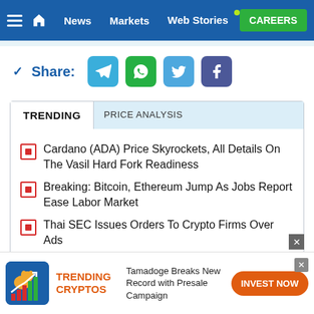News | Markets | Web Stories | CAREERS
✓ Share:
Cardano (ADA) Price Skyrockets, All Details On The Vasil Hard Fork Readiness
Breaking: Bitcoin, Ethereum Jump As Jobs Report Ease Labor Market
Thai SEC Issues Orders To Crypto Firms Over Ads
TRENDING CRYPTOS — Tamadoge Breaks New Record with Presale Campaign — INVEST NOW